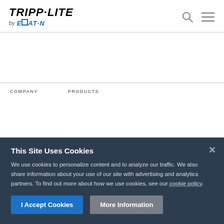[Figure (logo): Tripp-Lite by Eaton logo in header]
[Figure (other): Search icon and hamburger menu icon in header]
COMPANY
PRODUCTS
This Site Uses Cookies
We use cookies to personalize content and to analyze our traffic. We also share information about your use of our site with advertising and analytics partners. To find out more about how we use cookies, see our cookie policy.
I Accept Cookies
More Information